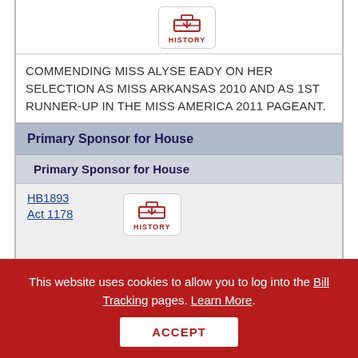[Figure (other): HISTORY button with inbox-style icon in red]
COMMENDING MISS ALYSE EADY ON HER SELECTION AS MISS ARKANSAS 2010 AND AS 1ST RUNNER-UP IN THE MISS AMERICA 2011 PAGEANT.
Primary Sponsor for House
Primary Sponsor for House
HB1893 Act 1178
[Figure (other): HISTORY button with inbox-style icon in red]
TO AMEND THE ARKANSAS TEACHER LICENSURE AND RECIPROCITY LAWS.
This website uses cookies to allow you to log into the Bill Tracking pages. Learn More.
ACCEPT